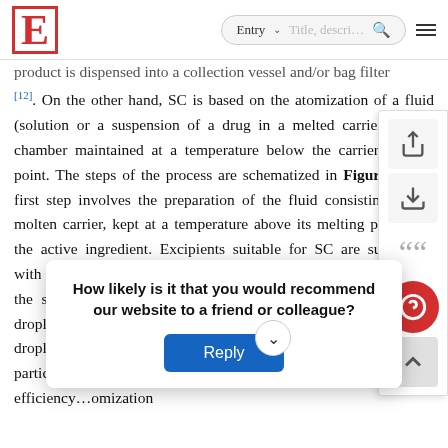E [logo] | Entry | Title, description search bar
product is dispensed into a collection vessel and/or bag filter [12]. On the other hand, SC is based on the atomization of a fluid (solution or a suspension of a drug in a melted carrier) into a chamber maintained at a temperature below the carrier melting point. The steps of the process are schematized in Figure 1. The first step involves the preparation of the fluid consisting of the molten carrier, kept at a temperature above its melting point, and the active ingredient. Excipients suitable for SC are substances with melting temperatures generally ranging from 35 to 90 °C. In the second step, the molten fluid stream is broken into small droplets by means of an atomizer. Subsequently, the molten droplets solidify upon cooling, thus producing the final solid particles. The solidification and the atomization efficiency are determined in the last, most important step congealing...omization efficiency...tant step
[Figure (screenshot): Floating UI panel on right side with share, download, quote, help (red circle), and scroll-to-top (grey) buttons]
[Figure (screenshot): Survey popup overlay asking 'How likely is it that you would recommend our website to a friend or colleague?' with a Reply button]